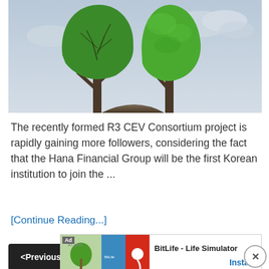[Figure (illustration): Two human head silhouettes formed by trees — one with bare branches (left) and one with full green foliage (right), symbolizing contrast or partnership, against a cloudy sky background.]
The recently formed R3 CEV Consortium project is rapidly gaining more followers, considering the fact that the Hana Financial Group will be the first Korean institution to join the ...
[Continue Reading...]
<Previous  1  ...  6  7  8  9
[Figure (screenshot): Ad banner for BitLife - Life Simulator app with Install button.]